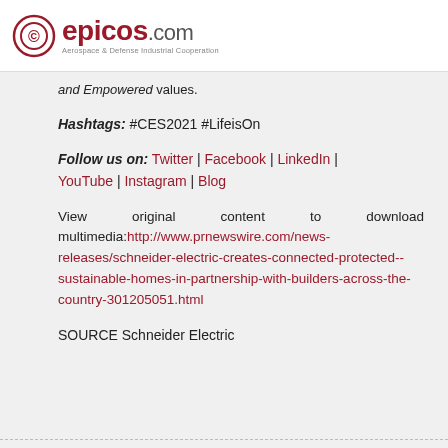epicos.com — Aerospace & Defense Industrial Cooperation
and Empowered values.
Hashtags: #CES2021 #LifeisOn
Follow us on: Twitter | Facebook | LinkedIn | YouTube | Instagram | Blog
View original content to download multimedia:http://www.prnewswire.com/news-releases/schneider-electric-creates-connected-protected--sustainable-homes-in-partnership-with-builders-across-the-country-301205051.html
SOURCE Schneider Electric